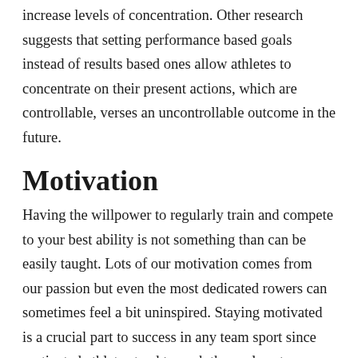increase levels of concentration. Other research suggests that setting performance based goals instead of results based ones allow athletes to concentrate on their present actions, which are controllable, verses an uncontrollable outcome in the future.
Motivation
Having the willpower to regularly train and compete to your best ability is not something than can be easily taught. Lots of our motivation comes from our passion but even the most dedicated rowers can sometimes feel a bit uninspired. Staying motivated is a crucial part to success in any team sport since motivated athletes tend to push themselves to achieve higher goals and in doing so motivate and inspire their team to do the same. Having a close-knit team with regular pep talks can enhance group